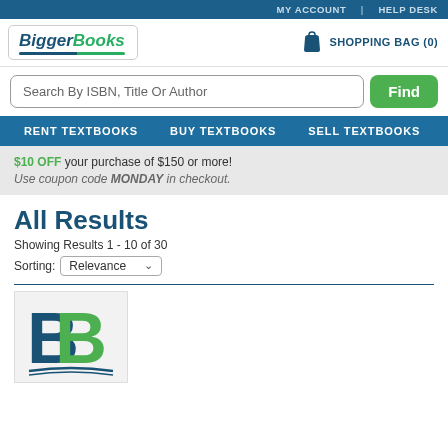MY ACCOUNT | HELP DESK
[Figure (logo): BiggerBooks logo with stylized B letters and open book graphic]
SHOPPING BAG (0)
Search By ISBN, Title Or Author
Find
RENT TEXTBOOKS   BUY TEXTBOOKS   SELL TEXTBOOKS
$10 OFF your purchase of $150 or more! Use coupon code MONDAY in checkout.
All Results
Showing Results 1 - 10 of 30
Sorting: Relevance
[Figure (logo): BiggerBooks BB logo with blue and green letters on open book]